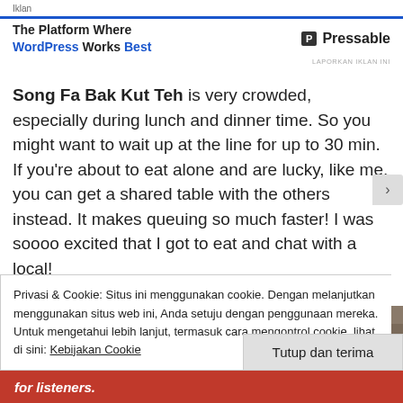Iklan
[Figure (screenshot): Advertisement banner for Pressable: 'The Platform Where WordPress Works Best' with Pressable logo]
Song Fa Bak Kut Teh is very crowded, especially during lunch and dinner time. So you might want to wait up at the line for up to 30 min. If you're about to eat alone and are lucky, like me, you can get a shared table with the others instead. It makes queuing so much faster! I was soooo excited that I got to eat and chat with a local!
[Figure (photo): Interior restaurant photo strip]
Privasi & Cookie: Situs ini menggunakan cookie. Dengan melanjutkan menggunakan situs web ini, Anda setuju dengan penggunaan mereka. Untuk mengetahui lebih lanjut, termasuk cara mengontrol cookie, lihat di sini: Kebijakan Cookie
Tutup dan terima
for listeners.